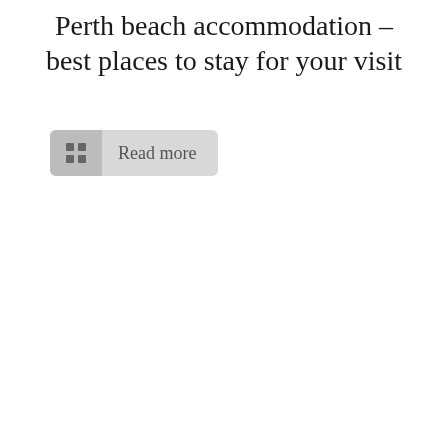Perth beach accommodation – best places to stay for your visit
[Figure (other): A button/widget with a grid icon on the left and 'Read more' text on the right, styled with a light grey background and rounded corners.]